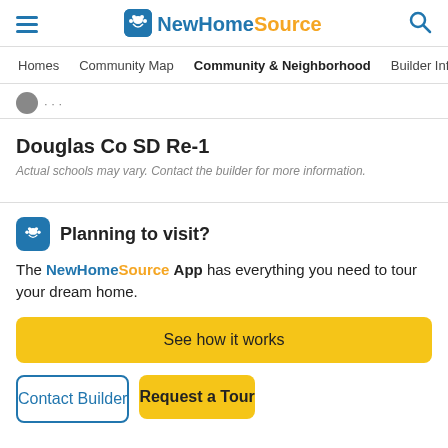NewHomeSource
Homes | Community Map | Community & Neighborhood | Builder Info
Douglas Co SD Re-1
Actual schools may vary. Contact the builder for more information.
Planning to visit?
The NewHomeSource App has everything you need to tour your dream home.
See how it works
Contact Builder
Request a Tour